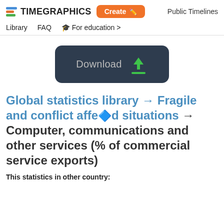TIMEGRAPHICS  Create  Public Timelines  Library  FAQ  For education
[Figure (screenshot): Download button with dark background and green download arrow icon]
Global statistics library → Fragile and conflict affected situations → Computer, communications and other services (% of commercial service exports)
This statistics in other country: